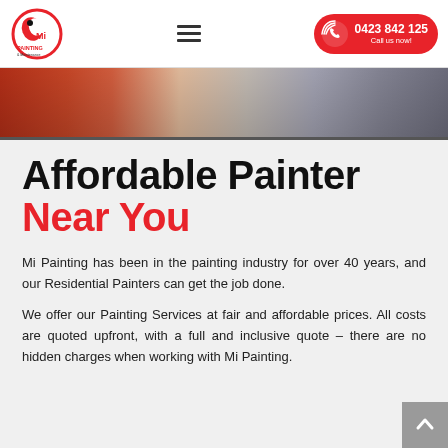Mi Painting & Maintenance — 0423 842 125 — Call us now!
[Figure (photo): Hero image strip showing painted interior room with orange pillow and grey sofa]
Affordable Painter Near You
Mi Painting has been in the painting industry for over 40 years, and our Residential Painters can get the job done.
We offer our Painting Services at fair and affordable prices. All costs are quoted upfront, with a full and inclusive quote – there are no hidden charges when working with Mi Painting.